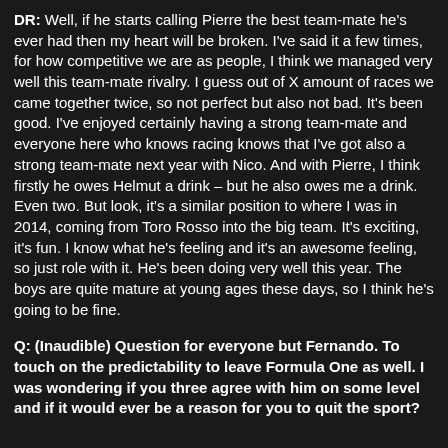DR: Well, if he starts calling Pierre the best team-mate he's ever had then my heart will be broken. I've said it a few times, for how competitive we are as people, I think we managed very well this team-mate rivalry. I guess out of X amount of races we came together twice, so not perfect but also not bad. It's been good. I've enjoyed certainly having a strong team-mate and everyone here who knows racing knows that I've got also a strong team-mate next year with Nico. And with Pierre, I think firstly he owes Helmut a drink – but he also owes me a drink. Even two. But look, it's a similar position to where I was in 2014, coming from Toro Rosso into the big team. It's exciting, it's fun. I know what he's feeling and it's an awesome feeling, so just role with it. He's been doing very well this year. The boys are quite mature at young ages these days, so I think he's going to be fine.
Q: (Inaudible) Question for everyone but Fernando. To touch on the predictability to leave Formula One as well. I was wondering if you three agree with him on some level and if it would ever be a reason for you to quit the sport?